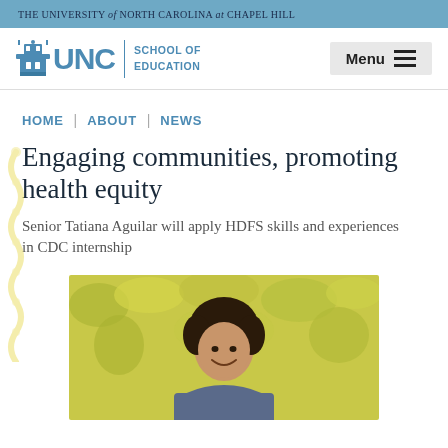THE UNIVERSITY of NORTH CAROLINA at CHAPEL HILL
[Figure (logo): UNC School of Education logo with building icon, UNC text, and 'SCHOOL OF EDUCATION' text beside a vertical divider]
HOME | ABOUT | NEWS
Engaging communities, promoting health equity
Senior Tatiana Aguilar will apply HDFS skills and experiences in CDC internship
[Figure (photo): Photo of a young woman with dark curly hair smiling, standing outdoors in front of a blurred yellow-green leafy background]